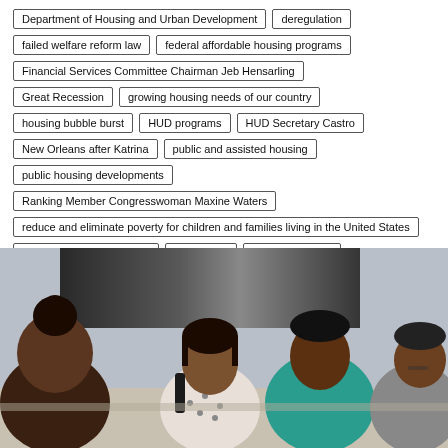Department of Housing and Urban Development
deregulation
failed welfare reform law
federal affordable housing programs
Financial Services Committee Chairman Jeb Hensarling
Great Recession
growing housing needs of our country
housing bubble burst
HUD programs
HUD Secretary Castro
New Orleans after Katrina
public and assisted housing
public housing developments
Ranking Member Congresswoman Maxine Waters
reduce and eliminate poverty for children and families living in the United States
taxpayer-funded subsidies
Wall Street
Washington D.C
welfare reform
[Figure (photo): Four people, appearing to be in a business meeting room, engaged in conversation around a table. One person is wearing a teal sweater, another has a patterned blouse. The scene appears to be a professional consultation or discussion.]